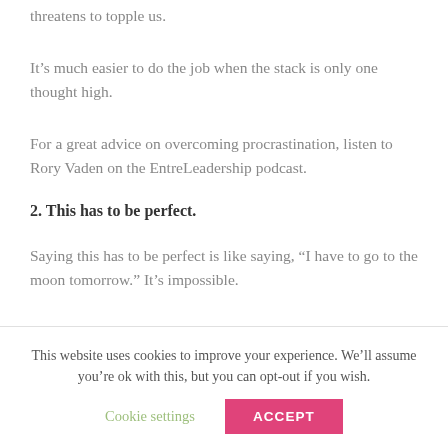threatens to topple us.
It’s much easier to do the job when the stack is only one thought high.
For a great advice on overcoming procrastination, listen to Rory Vaden on the EntreLeadership podcast.
2. This has to be perfect.
Saying this has to be perfect is like saying, “I have to go to the moon tomorrow.” It’s impossible.
This website uses cookies to improve your experience. We’ll assume you’re ok with this, but you can opt-out if you wish.